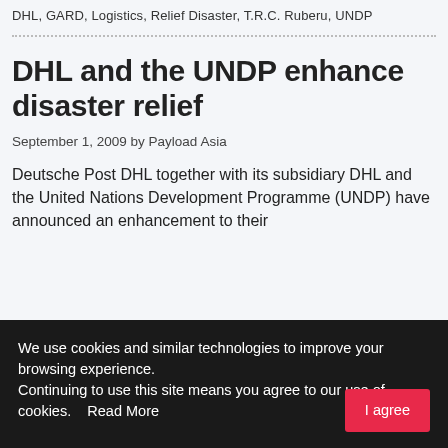DHL, GARD, Logistics, Relief Disaster, T.R.C. Ruberu, UNDP
DHL and the UNDP enhance disaster relief
September 1, 2009 by Payload Asia
Deutsche Post DHL together with its subsidiary DHL and the United Nations Development Programme (UNDP) have announced an enhancement to their
We use cookies and similar technologies to improve your browsing experience.
Continuing to use this site means you agree to our use of cookies.    Read More
I agree